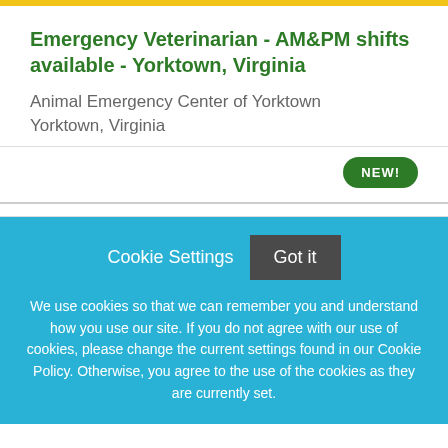Emergency Veterinarian - AM&PM shifts available - Yorktown, Virginia
Animal Emergency Center of Yorktown
Yorktown, Virginia
NEW!
Cookie Settings  Got it
We use cookies so that we can remember you and understand how you use our site. If you do not agree with our use of cookies, please change the current settings found in our Cookie Policy. Otherwise, you agree to the use of the cookies as they are currently set.